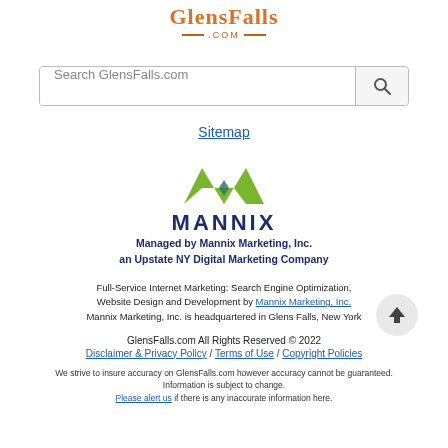GlensFalls .COM
[Figure (other): Search bar with placeholder text 'Search GlensFalls.com' and a search icon button]
Sitemap
[Figure (logo): Mannix Marketing logo: green stylized M mark above bold navy 'MANNIX' text, with taglines 'Managed by Mannix Marketing, Inc.' and 'an Upstate NY Digital Marketing Company']
Full-Service Internet Marketing: Search Engine Optimization, Website Design and Development by Mannix Marketing, Inc. Mannix Marketing, Inc. is headquartered in Glens Falls, New York
GlensFalls.com All Rights Reserved © 2022 Disclaimer & Privacy Policy / Terms of Use / Copyright Policies We strive to insure accuracy on GlensFalls.com however accuracy cannot be guaranteed. Information is subject to change. Please alert us if there is any inaccurate information here.